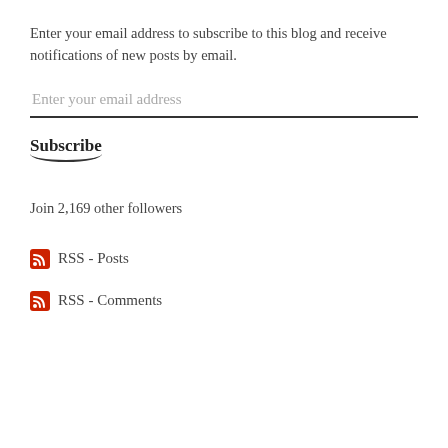Enter your email address to subscribe to this blog and receive notifications of new posts by email.
Enter your email address
Subscribe
Join 2,169 other followers
RSS - Posts
RSS - Comments